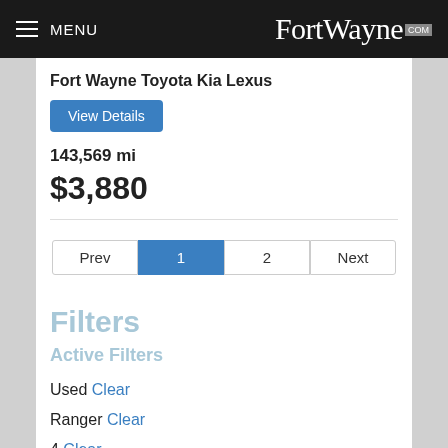MENU FortWayne.com
Fort Wayne Toyota Kia Lexus
View Details
143,569 mi
$3,880
Prev 1 2 Next
Filters
Active Filters
Used Clear
Ranger Clear
4 Clear
$1 to $4,999 Clear